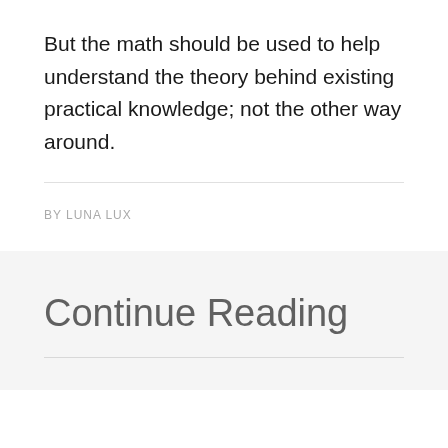But the math should be used to help understand the theory behind existing practical knowledge; not the other way around.
BY LUNA LUX
Continue Reading